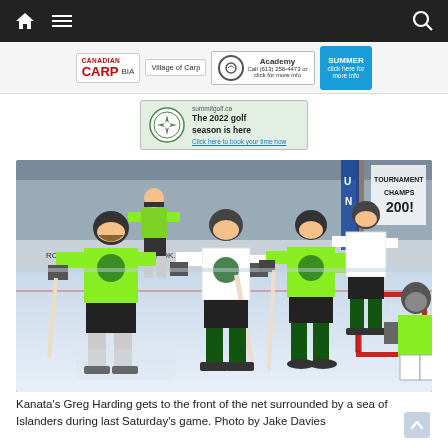Navigation bar with home, menu, and search icons
[Figure (photo): Advertisement banner row with CARP BIA, Village of Carp, Academy, and a blue ad tile]
[Figure (photo): Golf academy advertisement banner with logo and text 'The 2022 golf season is here']
[Figure (photo): Hockey game photo: Kanata's Greg Harding gets to the front of the net surrounded by a sea of Islanders during last Saturday's game. Photo by Jake Davies]
Kanata's Greg Harding gets to the front of the net surrounded by a sea of Islanders during last Saturday's game. Photo by Jake Davies